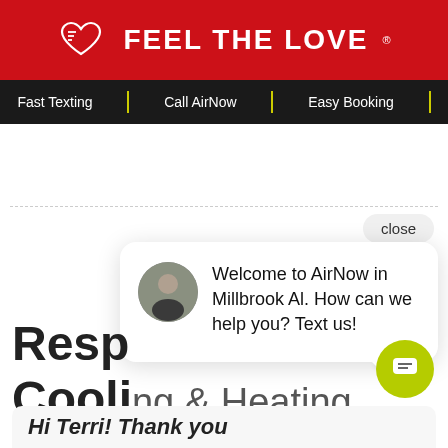FEEL THE LOVE
Fast Texting | Call AirNow | Easy Booking
[Figure (screenshot): Chat popup widget with avatar and message: Welcome to AirNow in Millbrook AL. How can we help you? Text us!]
Resp... Cooli...
Hi Terri! Thank you